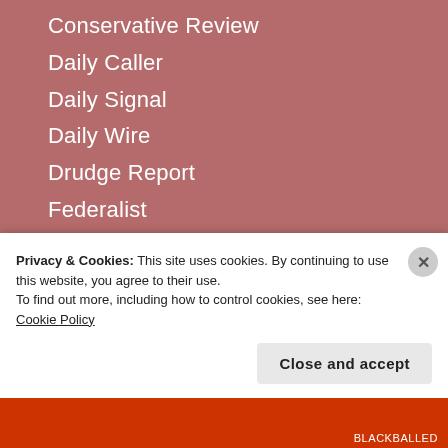Conservative Review
Daily Caller
Daily Signal
Daily Wire
Drudge Report
Federalist
Federalist Papers Project
First Things
Fox News
Front Page Magazine
Hot Air
Human Events
IMAO
Inside Sources
Privacy & Cookies: This site uses cookies. By continuing to use this website, you agree to their use. To find out more, including how to control cookies, see here: Cookie Policy
Close and accept